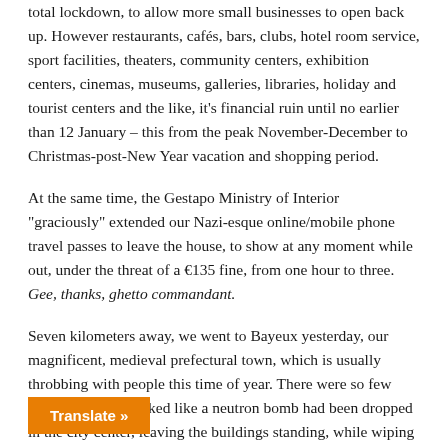total lockdown, to allow more small businesses to open back up. However restaurants, cafés, bars, clubs, hotel room service, sport facilities, theaters, community centers, exhibition centers, cinemas, museums, galleries, libraries, holiday and tourist centers and the like, it's financial ruin until no earlier than 12 January – this from the peak November-December to Christmas-post-New Year vacation and shopping period.
At the same time, the Gestapo Ministry of Interior "graciously" extended our Nazi-esque online/mobile phone travel passes to leave the house, to show at any moment while out, under the threat of a €135 fine, from one hour to three. Gee, thanks, ghetto commandant.
Seven kilometers away, we went to Bayeux yesterday, our magnificent, medieval prefectural town, which is usually throbbing with people this time of year. There were so few shoppers that is looked like a neutron bomb had been dropped in the city center, leaving the buildings standing, while wiping out most of the people. For centuries, French people have loved their restaurants, cafés and are the historical-cultural arterial system for